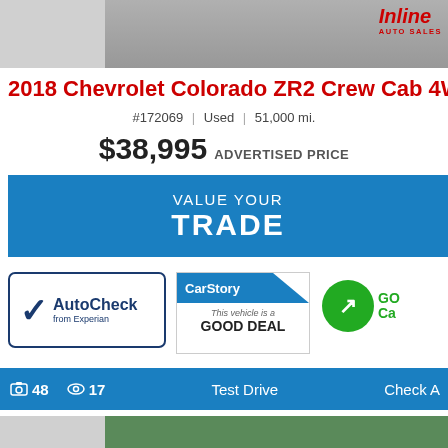[Figure (photo): Top portion of car listing page showing a vehicle photo with Inline Auto Sales logo]
2018 Chevrolet Colorado ZR2 Crew Cab 4WD S
#172069 | Used | 51,000 mi.
$38,995 ADVERTISED PRICE
VALUE YOUR TRADE
[Figure (logo): AutoCheck from Experian badge]
[Figure (logo): CarStory - This vehicle is a GOOD DEAL badge]
[Figure (logo): Good deal indicator circle with arrow]
48 photos | 17 views | Test Drive | Check A
[Figure (photo): Bottom vehicle photo showing car under canopy with trees and blue pillars]